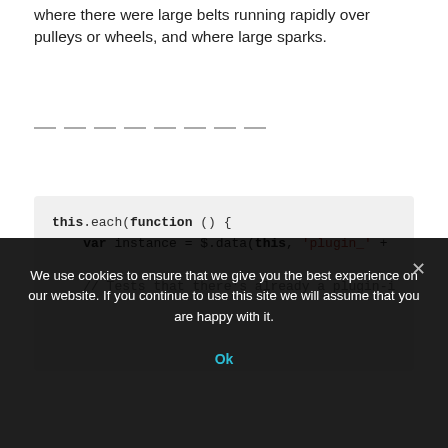where there were large belts running rapidly over pulleys or wheels, and where large sparks.
— — — — — — — —
this.each(function () {
    var instance = $.data(this, 'plugin_' +

    // Tests that there's already a plugin-i
We use cookies to ensure that we give you the best experience on our website. If you continue to use this site we will assume that you are happy with it.

Ok